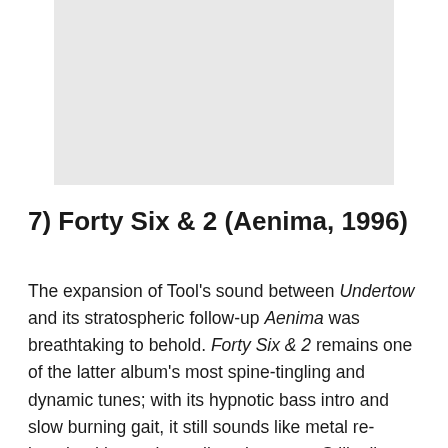[Figure (photo): Light grey rectangular placeholder image at the top of the page]
7) Forty Six & 2 (Aenima, 1996)
The expansion of Tool's sound between Undertow and its stratospheric follow-up Aenima was breathtaking to behold. Forty Six & 2 remains one of the latter album's most spine-tingling and dynamic tunes; with its hypnotic bass intro and slow burning gait, it still sounds like metal re-imagined by ancient, alien observers. Still a live favourite today – when Tool intermittently manage to drag themselves from the sofa – it's an immaculate synopsis of what made this